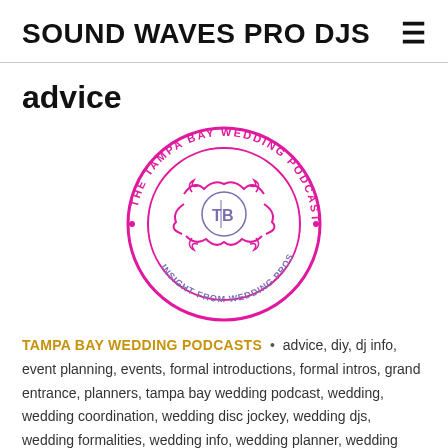SOUND WAVES PRO DJS
advice
[Figure (logo): The Tampa Bay Wedding Podcast circular logo in magenta/pink with decorative scrollwork and 'TB' monogram in center, text reading 'THE TAMPA BAY WEDDING PODCAST' around the outer ring and 'INSIGHT FROM WEDDING PROS' around the inner bottom]
TAMPA BAY WEDDING PODCASTS • advice, diy, dj info, event planning, events, formal introductions, formal intros, grand entrance, planners, tampa bay wedding podcast, wedding, wedding coordination, wedding disc jockey, wedding djs, wedding formalities, wedding info, wedding planner, wedding